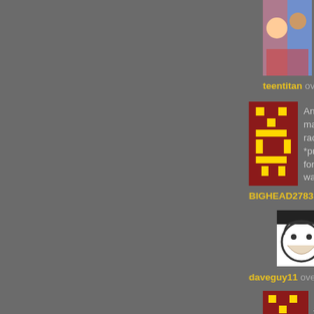[Figure (photo): Avatar image - cartoon/anime style, top of page]
teentitan over a year ago Reply
[Figure (illustration): Red/yellow pixel art avatar for BIGHEAD2783]
Android master race. *prepares for wa
BIGHEAD2783 over a year ago Reply
[Figure (illustration): Meme face avatar (Wojak/poker face style)]
@BIGHEAD2783, meh, to each th
daveguy11 over a year ago Reply
[Figure (illustration): Red/yellow pixel art avatar for BIGHEAD2783]
@daveguy11, True. I discovered h but then I cracked the screen, anc
BIGHEAD2783 over a year ago Reply
[Figure (photo): Bear avatar photo]
@BIGHEAD2783, um remember h just try to take over or destroy ear